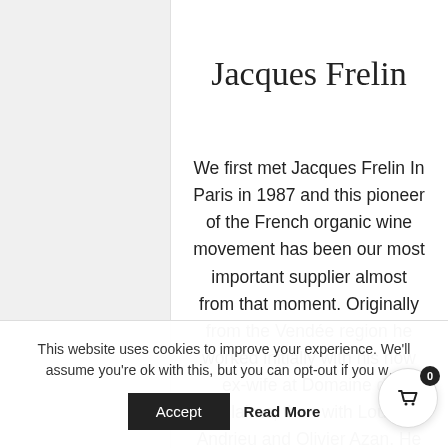Jacques Frelin
We first met Jacques Frelin In Paris in 1987 and this pioneer of the French organic wine movement has been our most important supplier almost from that moment. Originally from the Vendée region he worked initially with his now ex-wife at Domaine de Clairac, then with Louis Andrieu and Olivier Azan. He now
This website uses cookies to improve your experience. We'll assume you're ok with this, but you can opt-out if you wish.
Accept   Read More